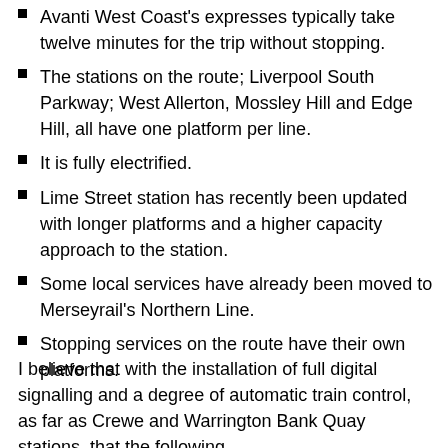Avanti West Coast's expresses typically take twelve minutes for the trip without stopping.
The stations on the route; Liverpool South Parkway; West Allerton, Mossley Hill and Edge Hill, all have one platform per line.
It is fully electrified.
Lime Street station has recently been updated with longer platforms and a higher capacity approach to the station.
Some local services have already been moved to Merseyrail's Northern Line.
Stopping services on the route have their own platforms.
I believe that with the installation of full digital signalling and a degree of automatic train control, as far as Crewe and Warrington Bank Quay stations, that the following